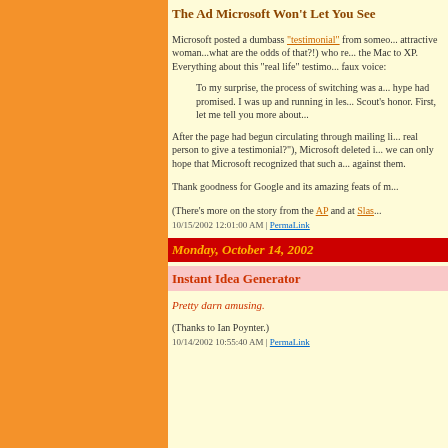The Ad Microsoft Won't Let You See
Microsoft posted a dumbass "testimonial" from someo... attractive woman...what are the odds of that?!) who re... the Mac to XP. Everything about this "real life" testimo... faux voice:
To my surprise, the process of switching was a... hype had promised. I was up and running in les... Scout's honor. First, let me tell you more about...
After the page had begun circulating through mailing li... real person to give a testimonial?"), Microsoft deleted i... we can only hope that Microsoft recognized that such a... against them.
Thank goodness for Google and its amazing feats of m...
(There's more on the story from the AP and at Slas...
10/15/2002 12:01:00 AM | PermaLink
Monday, October 14, 2002
Instant Idea Generator
Pretty darn amusing.
(Thanks to Ian Poynter.)
10/14/2002 10:55:40 AM | PermaLink